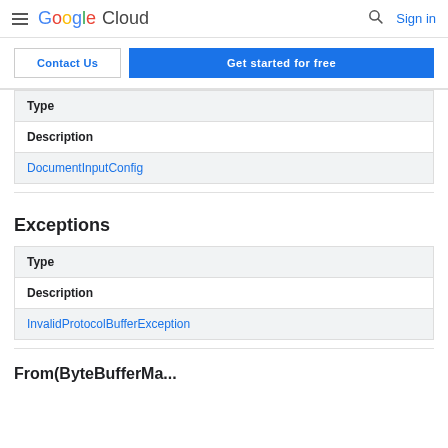Google Cloud  Sign in
Contact Us  Get started for free
| Type | Description |
| --- | --- |
| DocumentInputConfig |  |
Exceptions
| Type | Description |
| --- | --- |
| InvalidProtocolBufferException |  |
From(ByteBufferMapper...